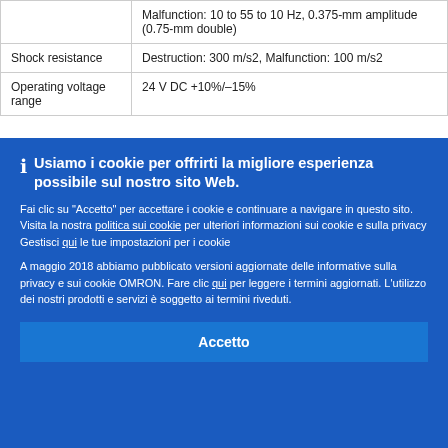|  |  |
| --- | --- |
|  | Malfunction: 10 to 55 to 10 Hz, 0.375-mm amplitude (0.75-mm double) |
| Shock resistance | Destruction: 300 m/s2, Malfunction: 100 m/s2 |
| Operating voltage range | 24 V DC +10%/–15% |
Usiamo i cookie per offrirti la migliore esperienza possibile sul nostro sito Web.
Fai clic su "Accetto" per accettare i cookie e continuare a navigare in questo sito. Visita la nostra politica sui cookie per ulteriori informazioni sui cookie e sulla privacy
Gestisci qui le tue impostazioni per i cookie
A maggio 2018 abbiamo pubblicato versioni aggiornate delle informative sulla privacy e sui cookie OMRON. Fare clic qui per leggere i termini aggiornati. L'utilizzo dei nostri prodotti e servizi è soggetto ai termini riveduti.
Accetto